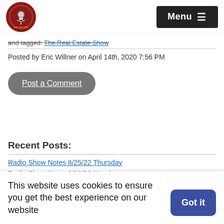The Real Estate Show — Menu
and tagged: The Real Estate Show
Posted by Eric Willner on April 14th, 2020 7:56 PM
Post a Comment
Recent Posts:
Radio Show Notes 8/25/22 Thursday
Radio Show Notes 8/22/22 Monday
Radio Show Notes 8/19/22 Friday
This website uses cookies to ensure you get the best experience on our website
Got it